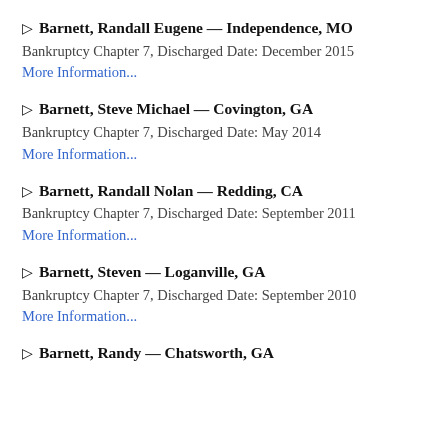▷ Barnett, Randall Eugene — Independence, MO
Bankruptcy Chapter 7, Discharged Date: December 2015
More Information...
▷ Barnett, Steve Michael — Covington, GA
Bankruptcy Chapter 7, Discharged Date: May 2014
More Information...
▷ Barnett, Randall Nolan — Redding, CA
Bankruptcy Chapter 7, Discharged Date: September 2011
More Information...
▷ Barnett, Steven — Loganville, GA
Bankruptcy Chapter 7, Discharged Date: September 2010
More Information...
▷ Barnett, Randy — Chatsworth, GA